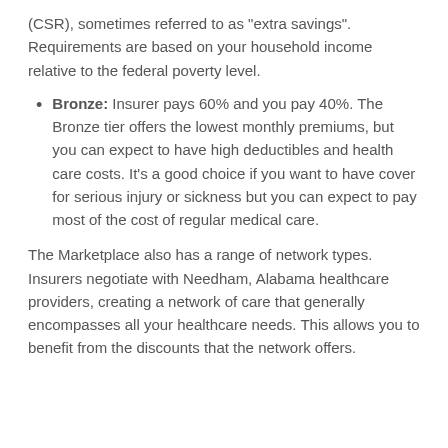(CSR), sometimes referred to as "extra savings". Requirements are based on your household income relative to the federal poverty level.
Bronze: Insurer pays 60% and you pay 40%. The Bronze tier offers the lowest monthly premiums, but you can expect to have high deductibles and health care costs. It's a good choice if you want to have cover for serious injury or sickness but you can expect to pay most of the cost of regular medical care.
The Marketplace also has a range of network types. Insurers negotiate with Needham, Alabama healthcare providers, creating a network of care that generally encompasses all your healthcare needs. This allows you to benefit from the discounts that the network offers.